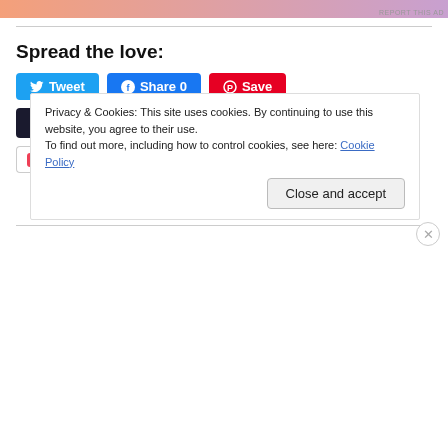[Figure (other): Advertisement banner image with gradient colors (orange to purple)]
Spread the love:
[Figure (other): Social sharing buttons: Tweet, Share 0, Save, Post, Pocket, 0, More]
Privacy & Cookies: This site uses cookies. By continuing to use this website, you agree to their use.
To find out more, including how to control cookies, see here: Cookie Policy
Close and accept